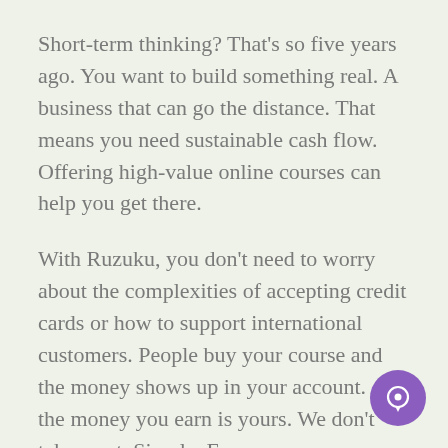Short-term thinking? That’s so five years ago. You want to build something real. A business that can go the distance. That means you need sustainable cash flow. Offering high-value online courses can help you get there.
With Ruzuku, you don’t need to worry about the complexities of accepting credit cards or how to support international customers. People buy your course and the money shows up in your account. All the money you earn is yours. We don’t take a cut. Simple. Easy.
[Figure (illustration): Purple circular chat/message button in the bottom-right corner]